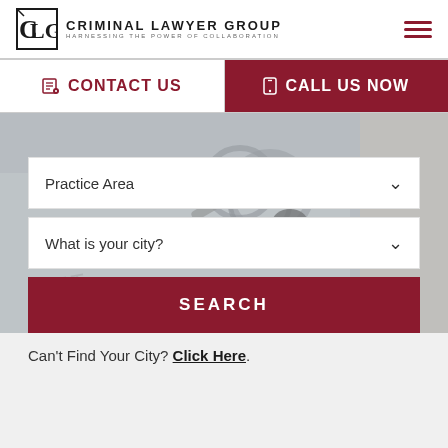[Figure (logo): Criminal Lawyer Group logo with stylized CLG monogram and tagline HARNESSING THE POWER OF COLLABORATION]
CONTACT US
CALL US NOW
[Figure (photo): Background photo of keys on a keyring on a document, overlaid with search form elements]
Practice Area
What is your city?
SEARCH
Can't Find Your City? Click Here.